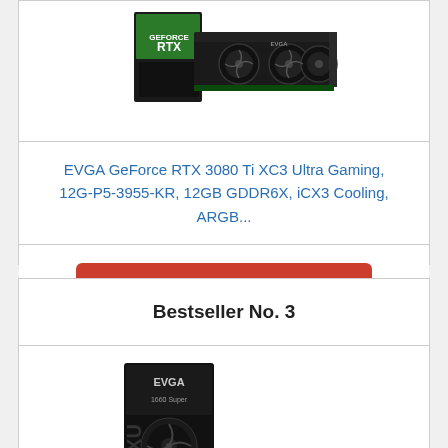[Figure (photo): EVGA GeForce RTX 3080 Ti graphics card product photo with box]
EVGA GeForce RTX 3080 Ti XC3 Ultra Gaming, 12G-P5-3955-KR, 12GB GDDR6X, iCX3 Cooling, ARGB...
Check Price On Amazon
Bestseller No. 3
[Figure (photo): EVGA XC gaming GPU product box photo]